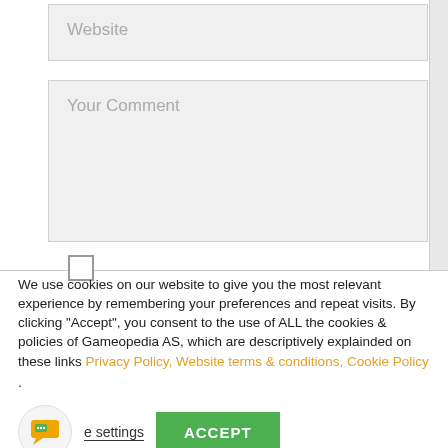Website
Your Comment
We use cookies on our website to give you the most relevant experience by remembering your preferences and repeat visits. By clicking “Accept”, you consent to the use of ALL the cookies & policies of Gameopedia AS, which are descriptively explainded on these links Privacy Policy, Website terms & conditions, Cookie Policy .
e settings
ACCEPT